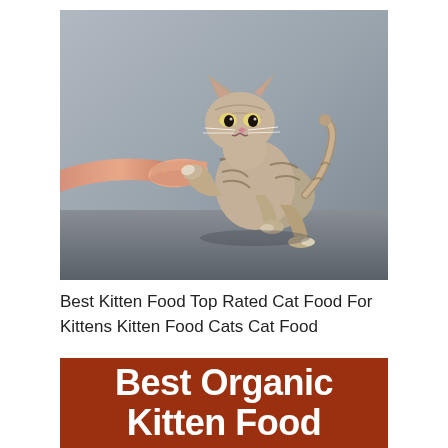[Figure (photo): A small tabby kitten sniffing or licking a human hand extended toward it, against a grey background.]
Best Kitten Food Top Rated Cat Food For Kittens Kitten Food Cats Cat Food
Best Organic Kitten Food